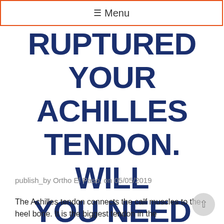≡Menu
RUPTURED YOUR ACHILLES TENDON. WILL YOU NEED SURGERY?
publish_by Ortho El Paso, on 05/05/2019
The Achilles tendon connects the calf muscles to the heel bone. It is the biggest tendon in the